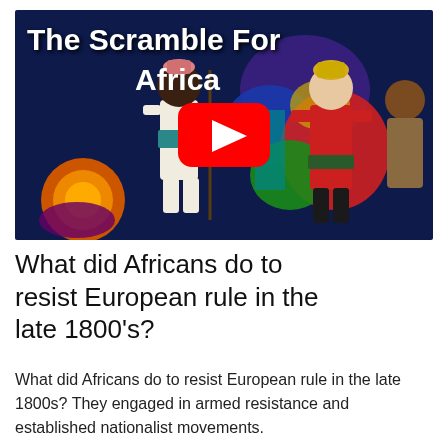[Figure (screenshot): YouTube video thumbnail for 'The Scramble For Africa' showing illustrated African and European soldiers against a colorful map of Africa, with a YouTube play button overlay]
What did Africans do to resist European rule in the late 1800's?
What did Africans do to resist European rule in the late 1800s? They engaged in armed resistance and established nationalist movements.